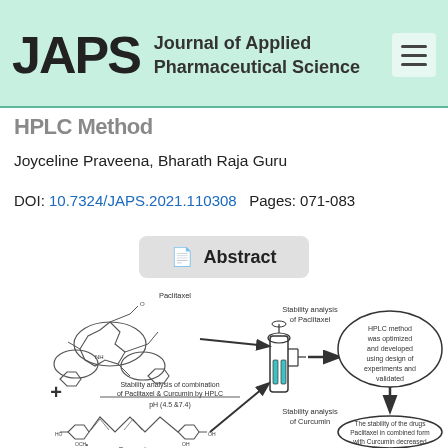JAPS Journal of Applied Pharmaceutical Science
HPLC Method
Joyceline Praveena, Bharath Raja Guru
DOI: 10.7324/JAPS.2021.110308   Pages: 071-083
Abstract
[Figure (schematic): Graphical abstract showing chemical structures of Paclitaxel and Curcumin with arrows indicating stability analysis by HPLC at pH 4.5 and 7.4, leading to HPLC method optimized using design of experiments and validated, and result showing stability of drugs Paclitaxel in combined form with Curcumin decreased.]